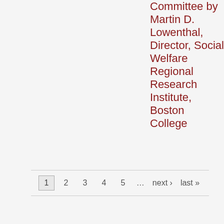Committee by Martin D. Lowenthal, Director, Social Welfare Regional Research Institute, Boston College
1 2 3 4 5 ... next › last »